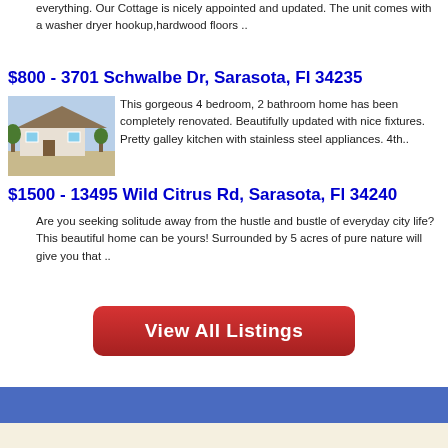everything. Our Cottage is nicely appointed and updated. The unit comes with a washer dryer hookup,hardwood floors ..
$800 - 3701 Schwalbe Dr, Sarasota, Fl 34235
[Figure (photo): Exterior photo of a single-story renovated home with trees in background]
This gorgeous 4 bedroom, 2 bathroom home has been completely renovated. Beautifully updated with nice fixtures. Pretty galley kitchen with stainless steel appliances. 4th..
$1500 - 13495 Wild Citrus Rd, Sarasota, Fl 34240
Are you seeking solitude away from the hustle and bustle of everyday city life? This beautiful home can be yours! Surrounded by 5 acres of pure nature will give you that ..
[Figure (other): Red button with text 'View All Listings']